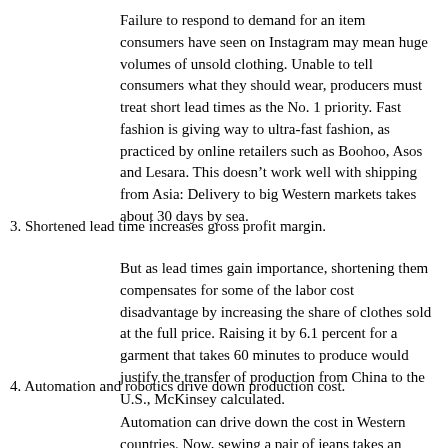Failure to respond to demand for an item consumers have seen on Instagram may mean huge volumes of unsold clothing. Unable to tell consumers what they should wear, producers must treat short lead times as the No. 1 priority. Fast fashion is giving way to ultra-fast fashion, as practiced by online retailers such as Boohoo, Asos and Lesara. This doesn’t work well with shipping from Asia: Delivery to big Western markets takes about 30 days by sea.
3. Shortened lead time increases gross profit margin.
But as lead times gain importance, shortening them compensates for some of the labor cost disadvantage by increasing the share of clothes sold at the full price. Raising it by 6.1 percent for a garment that takes 60 minutes to produce would justify the transfer of production from China to the U.S., McKinsey calculated.
4. Automation and robotics drive down production cost.
Automation can drive down the cost in Western countries. Now, sewing a pair of jeans takes an